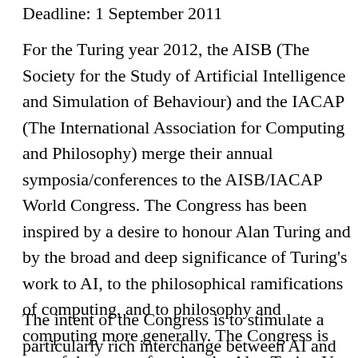Deadline: 1 September 2011
For the Turing year 2012, the AISB (The Society for the Study of Artificial Intelligence and Simulation of Behaviour) and the IACAP (The International Association for Computing and Philosophy) merge their annual symposia/conferences to the AISB/IACAP World Congress. The Congress has been inspired by a desire to honour Alan Turing and by the broad and deep significance of Turing's work to AI, to the philosophical ramifications of computing, and to philosophy and computing more generally. The Congress is one of the events forming the Alan Turing Year.
The intent of the Congress is to stimulate a particularly rich interchange between AI and